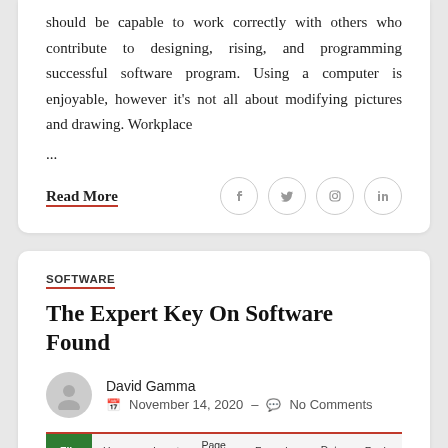should be capable to work correctly with others who contribute to designing, rising, and programming successful software program. Using a computer is enjoyable, however it's not all about modifying pictures and drawing. Workplace ...
Read More
SOFTWARE
The Expert Key On Software Found
David Gamma
November 14, 2020 – No Comments
[Figure (screenshot): Partial screenshot of a Microsoft Excel-like application showing the ribbon tabs: File (green), Home, Insert, Page Layout, Formulas, Data, Review]